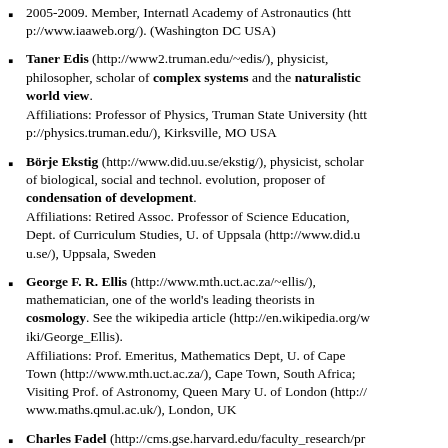2005-2009. Member, Internatl Academy of Astronautics (http://www.iaaweb.org/). (Washington DC USA)
Taner Edis (http://www2.truman.edu/~edis/), physicist, philosopher, scholar of complex systems and the naturalistic world view. Affiliations: Professor of Physics, Truman State University (http://physics.truman.edu/), Kirksville, MO USA
Börje Ekstig (http://www.did.uu.se/ekstig/), physicist, scholar of biological, social and technol. evolution, proposer of condensation of development. Affiliations: Retired Assoc. Professor of Science Education, Dept. of Curriculum Studies, U. of Uppsala (http://www.did.uu.se/), Uppsala, Sweden
George F. R. Ellis (http://www.mth.uct.ac.za/~ellis/), mathematician, one of the world's leading theorists in cosmology. See the wikipedia article (http://en.wikipedia.org/wiki/George_Ellis). Affiliations: Prof. Emeritus, Mathematics Dept, U. of Cape Town (http://www.mth.uct.ac.za/), Cape Town, South Africa; Visiting Prof. of Astronomy, Queen Mary U. of London (http://www.maths.qmul.ac.uk/), London, UK
Charles Fadel (http://cms.gse.harvard.edu/faculty_research/pr